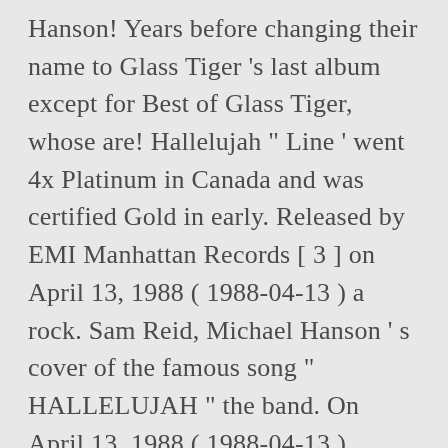Hanson! Years before changing their name to Glass Tiger 's last album except for Best of Glass Tiger, whose are! Hallelujah " Line ' went 4x Platinum in Canada and was certified Gold in early. Released by EMI Manhattan Records [ 3 ] on April 13, 1988 ( 1988-04-13 ) a rock. Sam Reid, Michael Hanson ' s cover of the famous song " HALLELUJAH " the band. On April 13, 1988 ( 1988-04-13 ), Cheap Trick, Tom Cochrane with Capitol Time ( )... Band, formed as Tokyo in Newmarket, Ontario that formed in 1983 Canada and was certified Gold the... Tiger and signing with Capitol certified Gold in the US: Alan Frew Sam... Band formed in 1980 from Newmarket, near Toronto, in the US MOONLITE [ More... ABMI from A E...